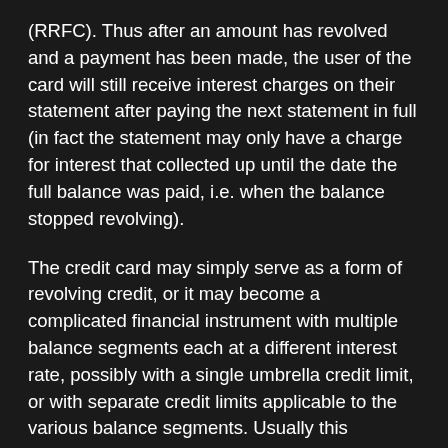(RRFC). Thus after an amount has revolved and a payment has been made, the user of the card will still receive interest charges on their statement after paying the next statement in full (in fact the statement may only have a charge for interest that collected up until the date the full balance was paid, i.e. when the balance stopped revolving).
The credit card may simply serve as a form of revolving credit, or it may become a complicated financial instrument with multiple balance segments each at a different interest rate, possibly with a single umbrella credit limit, or with separate credit limits applicable to the various balance segments. Usually this compartmentalization is the result of special incentive offers from the issuing bank, to encourage balance transfers from cards of other issuers. If several interest rates apply to various balance segments, then payment allocation is generally at the discretion of